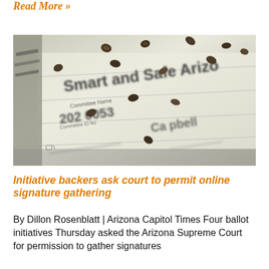Read More »
[Figure (photo): Close-up photo of a ballot petition form with 'Smart and Safe Arizona' visible as committee name, number 202...0053, with cannabis seeds scattered on the document. Fields show Committee Name, Committee ID No., and partially visible name 'Campbell'.]
Initiative backers ask court to permit online signature gathering
By Dillon Rosenblatt | Arizona Capitol Times Four ballot initiatives Thursday asked the Arizona Supreme Court for permission to gather signatures